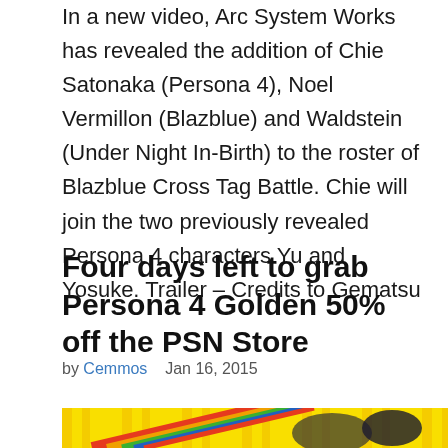In a new video, Arc System Works has revealed the addition of Chie Satonaka (Persona 4), Noel Vermillon (Blazblue) and Waldstein (Under Night In-Birth) to the roster of Blazblue Cross Tag Battle. Chie will join the two previously revealed Persona 4 characters Yu and Yosuke. Trailer – Credits to Gematsu
Four days left to grab Persona 4 Golden 50% off the PSN Store
by Cemmos    Jan 16, 2015
[Figure (photo): Anime-style illustration showing Persona 4 characters against a yellow background with colorful diagonal stripes]